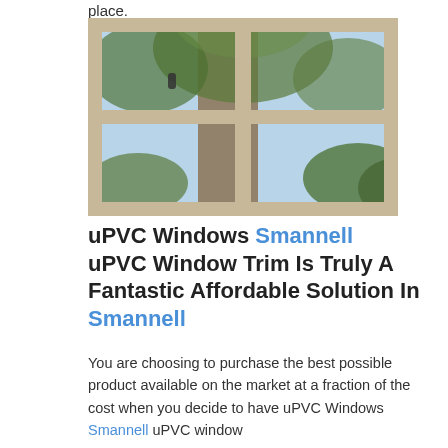place.
[Figure (photo): Close-up photograph of a multi-pane window with cream/white wooden frames, showing a garden with trees and green foliage visible through the glass panes. The window handle is visible on the upper left pane.]
uPVC Windows Smannell uPVC Window Trim Is Truly A Fantastic Affordable Solution In Smannell
You are choosing to purchase the best possible product available on the market at a fraction of the cost when you decide to have uPVC Windows Smannell uPVC window trim. For the best product it is all worth...